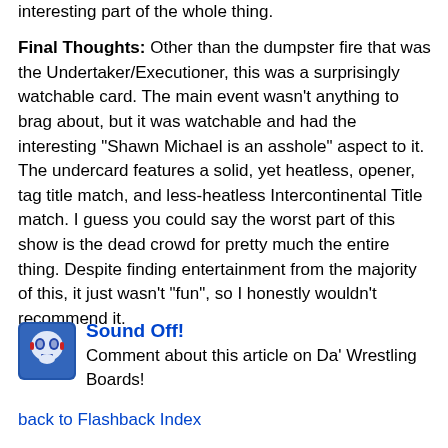interesting part of the whole thing.
Final Thoughts: Other than the dumpster fire that was the Undertaker/Executioner, this was a surprisingly watchable card. The main event wasn't anything to brag about, but it was watchable and had the interesting "Shawn Michael is an asshole" aspect to it. The undercard features a solid, yet heatless, opener, tag title match, and less-heatless Intercontinental Title match. I guess you could say the worst part of this show is the dead crowd for pretty much the entire thing. Despite finding entertainment from the majority of this, it just wasn't "fun", so I honestly wouldn't recommend it.
Sound Off! Comment about this article on Da' Wrestling Boards!
back to Flashback Index